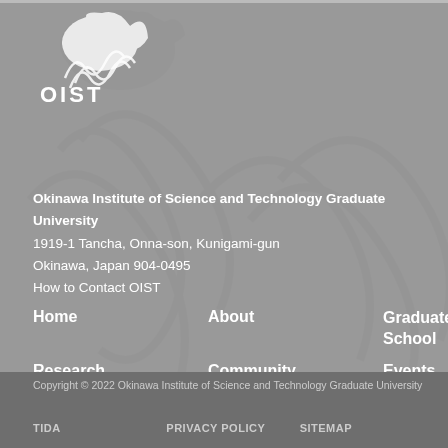[Figure (logo): OIST logo with decorative brain/coral illustration above OIST text in white on gray background]
Okinawa Institute of Science and Technology Graduate University
1919-1 Tancha, Onna-son, Kunigami-gun
Okinawa, Japan 904-0495
How to Contact OIST
Home
About
Graduate School
Research
Community
Events
News Center
Careers
Copyright © 2022 Okinawa Institute of Science and Technology Graduate University
TIDA    PRIVACY POLICY    SITEMAP